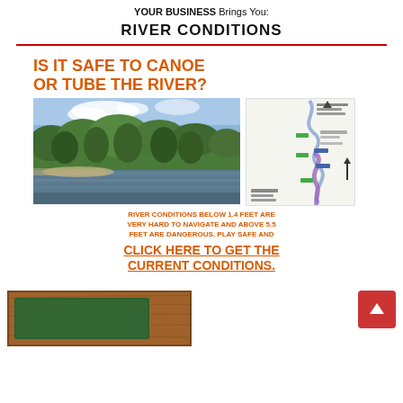YOUR BUSINESS Brings You:
RIVER CONDITIONS
[Figure (infographic): Promotional infographic for river conditions. Orange bold text asks 'IS IT SAFE TO CANOE OR TUBE THE RIVER?' with a photo of a calm river with green forested hills and a river route map. Orange text states 'RIVER CONDITIONS BELOW 1.4 FEET ARE VERY HARD TO NAVIGATE AND ABOVE 5.5 FEET ARE DANGEROUS. PLAY SAFE AND' then a large underlined CTA: 'CLICK HERE TO GET THE CURRENT CONDITIONS.']
[Figure (photo): Partial view of a wooden plaque with a green inset panel, mounted at an angle, bottom of the page.]